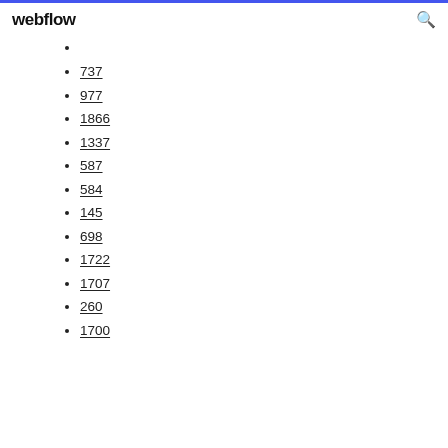webflow
737
977
1866
1337
587
584
145
698
1722
1707
260
1700